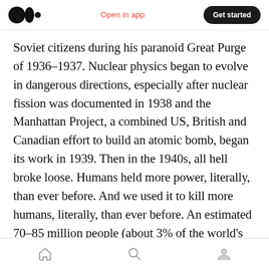Medium app header: logo, Open in app, Get started
Soviet citizens during his paranoid Great Purge of 1936–1937. Nuclear physics began to evolve in dangerous directions, especially after nuclear fission was documented in 1938 and the Manhattan Project, a combined US, British and Canadian effort to build an atomic bomb, began its work in 1939. Then in the 1940s, all hell broke loose. Humans held more power, literally, than ever before. And we used it to kill more humans, literally, than ever before. An estimated 70–85 million people (about 3% of the world's population at the time) were direct casualties of
Bottom navigation bar: home, search, profile